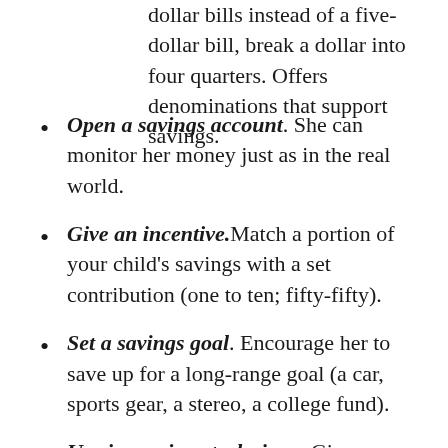dollar bills instead of a five-dollar bill, break a dollar into four quarters. Offers denominations that support savings.
Open a savings account. She can monitor her money just as in the real world.
Give an incentive. Match a portion of your child's savings with a set contribution (one to ten; fifty-fifty).
Set a savings goal. Encourage her to save up for a long-range goal (a car, sports gear, a stereo, a college fund).
Use jar savings technique. Give your child four clear jars: one for everyday spending, one for a short-term goal, one for